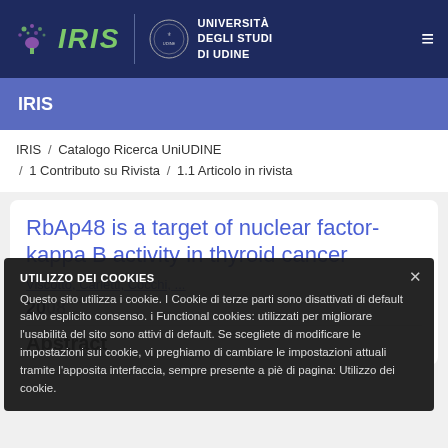[Figure (logo): IRIS logo with stylized tree/brain icon and UNIVERSITÀ DEGLI STUDI DI UDINE logo in dark blue navigation bar]
IRIS
IRIS / Catalogo Ricerca UniUDINE / 1 Contributo su Rivista / 1.1 Articolo in rivista
RbAp48 is a target of nuclear factor-kappa B activity in thyroid cancer
Viscotto, Carletti, Cocchi, ...
2008
Abstract
UTILIZZO DEI COOKIES
Questo sito utilizza i cookie. I Cookie di terze parti sono disattivati di default salvo esplicito consenso. i Functional cookies: utilizzati per migliorare l'usabilità del sito sono attivi di default. Se scegliete di modificare le impostazioni sui cookie, vi preghiamo di cambiare le impostazioni attuali tramite l'apposita interfaccia, sempre presente a piè di pagina: Utilizzo dei cookie.